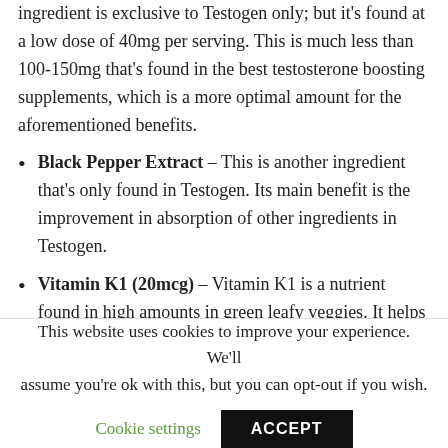ingredient is exclusive to Testogen only; but it's found at a low dose of 40mg per serving. This is much less than 100-150mg that's found in the best testosterone boosting supplements, which is a more optimal amount for the aforementioned benefits.
Black Pepper Extract – This is another ingredient that's only found in Testogen. Its main benefit is the improvement in absorption of other ingredients in Testogen.
Vitamin K1 (20mcg) – Vitamin K1 is a nutrient found in high amounts in green leafy veggies. It helps your skin heal faster from cuts, and makes your blood clot as well. However, whwen it comes to testosterone boosting, vitamin K2 is the more effective (albeit more expensive to produce) form of the nutrient. So the fact that Testogen
This website uses cookies to improve your experience. We'll assume you're ok with this, but you can opt-out if you wish.